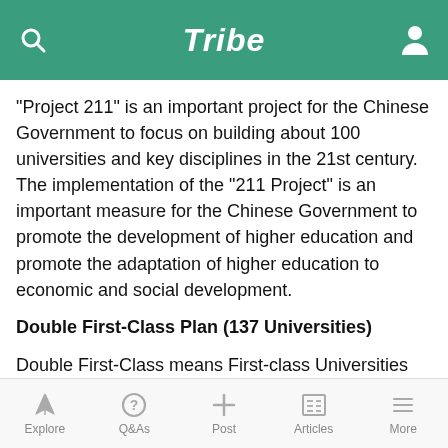Tribe
"Project 211" is an important project for the Chinese Government to focus on building about 100 universities and key disciplines in the 21st century. The implementation of the "211 Project" is an important measure for the Chinese Government to promote the development of higher education and promote the adaptation of higher education to economic and social development.
Double First-Class Plan (137 Universities)
Double First-Class means First-class Universities and Disciplines of the World. "Double First Class" is another national strategy in China's higher education field released in 2017 after the "Project 211" and "Project 985", which is conducive to improving the comprehensive strength and international competitiveness of China's higher education. The overall goal is that by 2020, a number of universities will be among the most popular in the world,
Explore  Q&As  Post  Articles  More